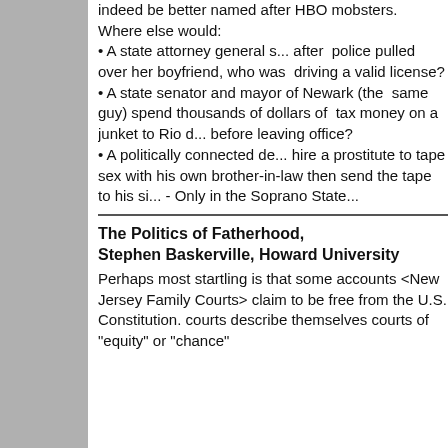indeed be better named after HBO mobsters.
Where else would:
• A state attorney general s... after police pulled over her boyfriend, who was driving a valid license?
• A state senator and mayor of Newark (the same guy) spend thousands of dollars of tax money on a junket to Rio d... before leaving office?
• A politically connected de... hire a prostitute to tape sex with his own brother-in-law then send the tape to his si... - Only in the Soprano State...
The Politics of Fatherhood
Stephen Baskerville, Howard University
Perhaps most startling is that some accounts <New Jersey Family Courts> claim to be free from the U.S. Constitution. courts describe themselves courts of "equity" or "chance"